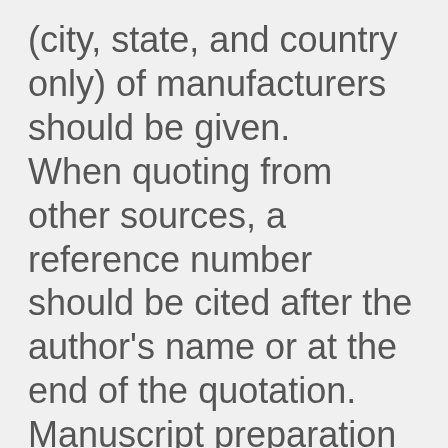(city, state, and country only) of manufacturers should be given. When quoting from other sources, a reference number should be cited after the author's name or at the end of the quotation. Manuscript preparation is different according to the publication type, including original articles, reviews